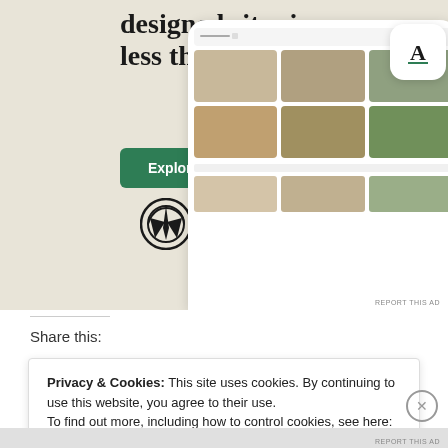[Figure (screenshot): WordPress.com advertisement banner showing 'designed sites in less than a week' headline with green 'Explore options' button, WordPress logo, and phone mockup displaying food website templates. Background is beige/tan color.]
Share this:
Privacy & Cookies: This site uses cookies. By continuing to use this website, you agree to their use.
To find out more, including how to control cookies, see here: Cookie Policy
Close and accept